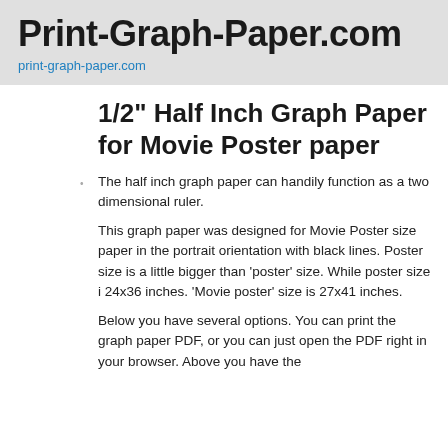Print-Graph-Paper.com
print-graph-paper.com
1/2" Half Inch Graph Paper for Movie Poster paper
The half inch graph paper can handily function as a two dimensional ruler.
This graph paper was designed for Movie Poster size paper in the portrait orientation with black lines. Poster size is a little bigger than 'poster' size. While poster size i 24x36 inches. 'Movie poster' size is 27x41 inches.
Below you have several options. You can print the graph paper PDF, or you can just open the PDF right in your browser. Above you have the